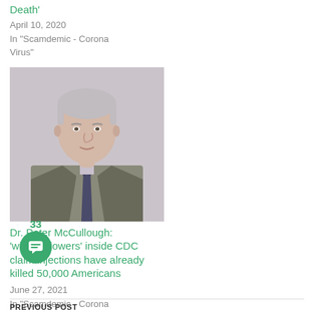Death'
April 10, 2020
In "Scamdemic - Corona Virus"
[Figure (photo): Photo of Dr. Peter McCullough, a man with gray-white hair wearing a suit jacket and tie, smiling slightly against a light gray background]
Dr. Peter McCullough: 'whistleblowers' inside CDC claim injections have already killed 50,000 Americans
June 27, 2021
In "Scamdemic - Corona Virus"
33
PREVIOUS POST